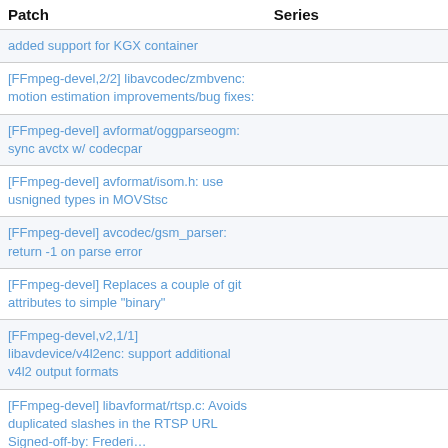| Patch | Series |
| --- | --- |
| added support for KGX container |  |
| [FFmpeg-devel,2/2] libavcodec/zmbvenc: motion estimation improvements/bug fixes: |  |
| [FFmpeg-devel] avformat/oggparseogm: sync avctx w/ codecpar |  |
| [FFmpeg-devel] avformat/isom.h: use usnigned types in MOVStsc |  |
| [FFmpeg-devel] avcodec/gsm_parser: return -1 on parse error |  |
| [FFmpeg-devel] Replaces a couple of git attributes to simple "binary" |  |
| [FFmpeg-devel,v2,1/1] libavdevice/v4l2enc: support additional v4l2 output formats |  |
| [FFmpeg-devel] libavformat/rtsp.c: Avoids duplicated slashes in the RTSP URL Signed-off-by: Frederi… |  |
| [FFmpeg-devel] Avoids duplicated slashes in the RTSP URL Signed-off- |  |